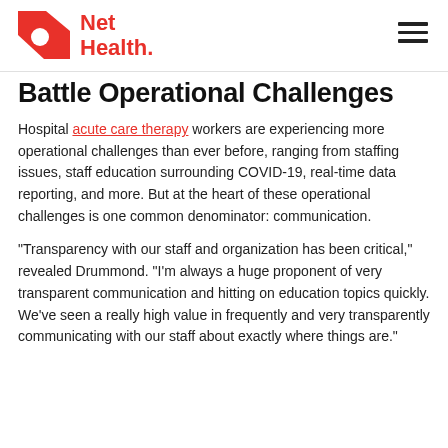Net Health
Battle Operational Challenges
Hospital acute care therapy workers are experiencing more operational challenges than ever before, ranging from staffing issues, staff education surrounding COVID-19, real-time data reporting, and more. But at the heart of these operational challenges is one common denominator: communication.
“Transparency with our staff and organization has been critical,” revealed Drummond. “I’m always a huge proponent of very transparent communication and hitting on education topics quickly. We’ve seen a really high value in frequently and very transparently communicating with our staff about exactly where things are.”